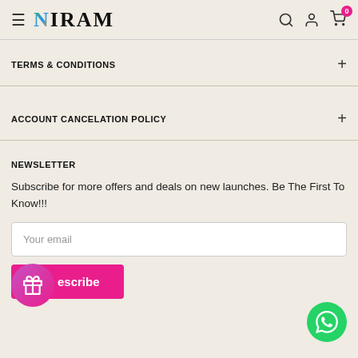NIRAM
TERMS & CONDITIONS
ACCOUNT CANCELATION POLICY
NEWSLETTER
Subscribe for more offers and deals on new launches. Be The First To Know!!!
Your email
Subscribe